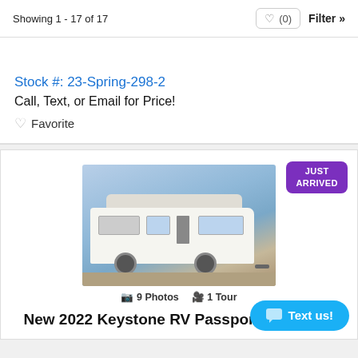Showing 1 - 17 of 17
Stock #: 23-Spring-298-2
Call, Text, or Email for Price!
Favorite
[Figure (photo): Photo of a travel trailer RV (2022 Keystone RV Passport SL 268BH) parked outdoors with blue sky background. Badge reads JUST ARRIVED.]
9 Photos  1 Tour
New 2022 Keystone RV Passport SL 268BH